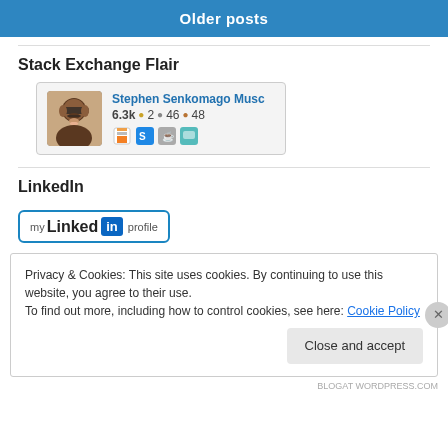[Figure (screenshot): Blue 'Older posts' button banner]
Stack Exchange Flair
[Figure (screenshot): Stack Exchange flair widget showing Stephen Senkomago Musc, 6.3k, 2 gold, 46 silver, 48 bronze badges, with site icons]
LinkedIn
[Figure (screenshot): LinkedIn 'my Linked in profile' button]
Privacy & Cookies: This site uses cookies. By continuing to use this website, you agree to their use.
To find out more, including how to control cookies, see here: Cookie Policy
Close and accept
BLOGAT WORDPRESS.COM